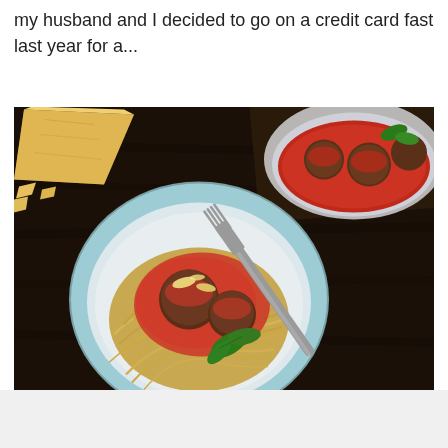my husband and I decided to go on a credit card fast last year for a...
[Figure (photo): Overhead view of a plate of spaghetti with meatballs in tomato sauce topped with fresh basil and shaved parmesan, with a fork resting on the plate, on a dark wooden table. A wedge of parmesan cheese is visible in the upper left, and a casserole dish of meatballs in sauce is visible in the upper right.]